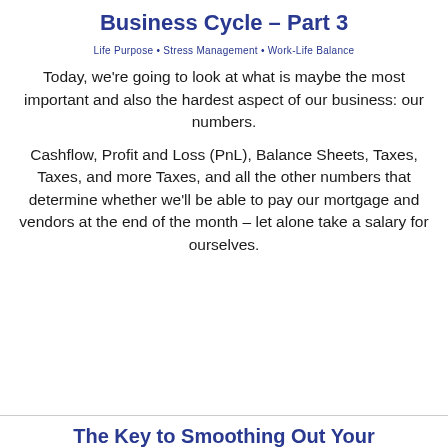Business Cycle – Part 3
Life Purpose • Stress Management • Work-Life Balance
Today, we're going to look at what is maybe the most important and also the hardest aspect of our business: our numbers.
Cashflow, Profit and Loss (PnL), Balance Sheets, Taxes, Taxes, and more Taxes, and all the other numbers that determine whether we'll be able to pay our mortgage and vendors at the end of the month – let alone take a salary for ourselves.
The Key to Smoothing Out Your